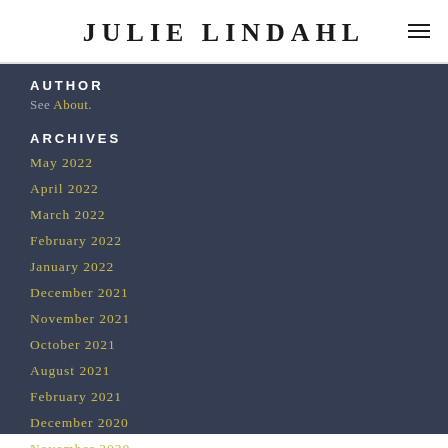JULIE LINDAHL
AUTHOR
See About.
ARCHIVES
May 2022
April 2022
March 2022
February 2022
January 2022
December 2021
November 2021
October 2021
August 2021
February 2021
December 2020
November 2020